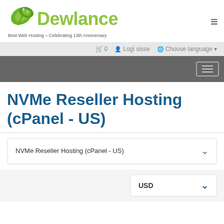[Figure (logo): Dewlance logo with green leaf icon and text 'Dewlance - Best Web Hosting - Celebrating 13th Anniversary']
🛒 0   👤 Logi sisse   🌐 Choose language
NVMe Reseller Hosting (cPanel - US)
NVMe Reseller Hosting (cPanel - US)
USD